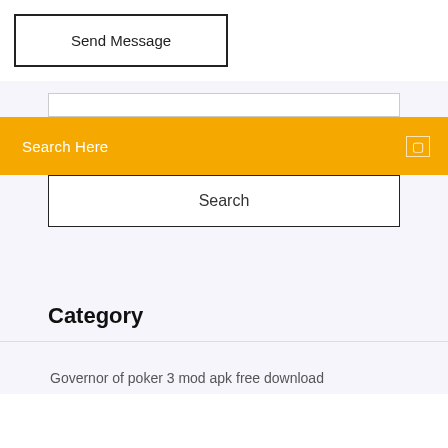Send Message
Search Here
Search
Category
Governor of poker 3 mod apk free download